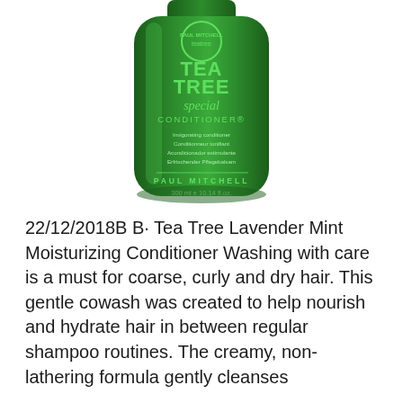[Figure (photo): Paul Mitchell Tea Tree Special Conditioner bottle, 300ml / 10.14 fl.oz., green bottle with tea tree branding]
22/12/2018B B· Tea Tree Lavender Mint Moisturizing Conditioner Washing with care is a must for coarse, curly and dry hair. This gentle cowash was created to help nourish and hydrate hair in between regular shampoo routines. The creamy, non-lathering formula gently cleanses